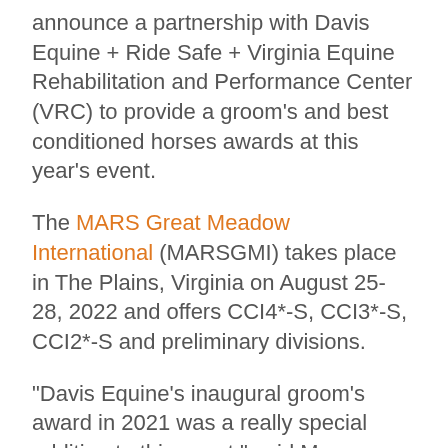announce a partnership with Davis Equine + Ride Safe + Virginia Equine Rehabilitation and Performance Center (VRC) to provide a groom’s and best conditioned horses awards at this year’s event.
The MARS Great Meadow International (MARSGMI) takes place in The Plains, Virginia on August 25-28, 2022 and offers CCI4*-S, CCI3*-S, CCI2*-S and preliminary divisions.
“Davis Equine’s inaugural groom’s award in 2021 was a really special addition to this event,” said Max Corcoran, a member of the organizing committee and professional groom herself. “With